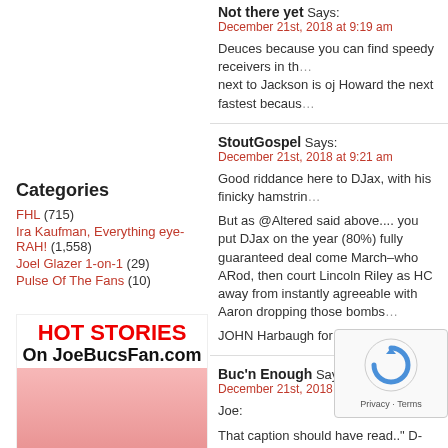Not there yet Says: December 21st, 2018 at 9:19 am
Deuces because you can find speedy receivers in th... next to Jackson is oj Howard the next fastest becaus...
StoutGospel Says: December 21st, 2018 at 9:21 am
Good riddance here to DJax, with his finicky hamstrin...
But as @Altered said above.... you put DJax on the year (80%) fully guaranteed deal come March–who ARod, then court Lincoln Riley as HC away from instantly agreeable with Aaron dropping those bombs...
JOHN Harbaugh for Bucs resurgence!
Categories
FHL (715)
Ira Kaufman, Everything eye-RAH! (1,558)
Joel Glazer 1-on-1 (29)
Pulse Of The Fans (10)
[Figure (infographic): HOT STORIES On JoeBucsFan.com promo box with red text and a photo of a person below]
Buc'n Enough Says: December 21st, 2018 at 9:22 am
Joe:
That caption should have read.." D-Jax can you refe...
Kobe Faker Says: December 21st, 2018 at 9:25 am